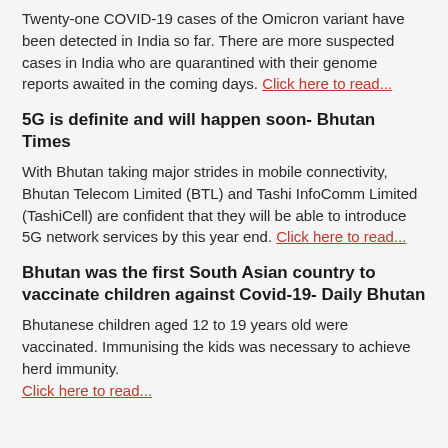Twenty-one COVID-19 cases of the Omicron variant have been detected in India so far. There are more suspected cases in India who are quarantined with their genome reports awaited in the coming days. Click here to read...
5G is definite and will happen soon- Bhutan Times
With Bhutan taking major strides in mobile connectivity, Bhutan Telecom Limited (BTL) and Tashi InfoComm Limited (TashiCell) are confident that they will be able to introduce 5G network services by this year end. Click here to read...
Bhutan was the first South Asian country to vaccinate children against Covid-19- Daily Bhutan
Bhutanese children aged 12 to 19 years old were vaccinated. Immunising the kids was necessary to achieve herd immunity. Click here to read...